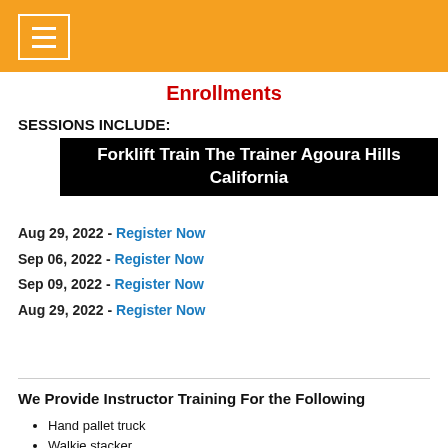Enrollments
SESSIONS INCLUDE:
Forklift Train The Trainer Agoura Hills California
Aug 29, 2022 - Register Now
Sep 06, 2022 - Register Now
Sep 09, 2022 - Register Now
Aug 29, 2022 - Register Now
We Provide Instructor Training For the Following
Hand pallet truck
Walkie stacker
Side loader